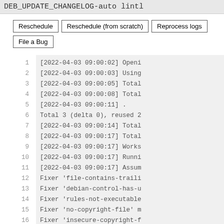DEB_UPDATE_CHANGELOG-auto lintl
Reschedule | Reschedule (from scratch) | Reprocess logs | File a Bug
1  [2022-04-03 09:00:02] Openi
2  [2022-04-03 09:00:03] Using
3  [2022-04-03 09:00:05] Total
4  [2022-04-03 09:00:08] Total
5  [2022-04-03 09:00:11] .
6  Total 3 (delta 0), reused 2
7  [2022-04-03 09:00:14] Total
8  [2022-04-03 09:00:17] Total
9  [2022-04-03 09:00:17] Works
10  [2022-04-03 09:00:17] Runni
11  [2022-04-03 09:00:17] Assum
12  Fixer 'file-contains-traili
13  Fixer 'debian-control-has-u
14  Fixer 'rules-not-executable
15  Fixer 'no-copyright-file' m
16  Fixer 'insecure-copyright-f
17  Fixer 'unversioned-copyrigh
18  Fixer 'copyright has-cre...